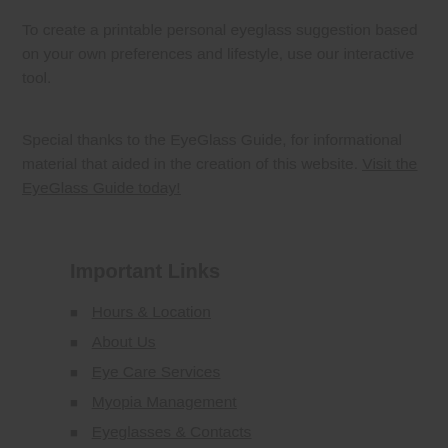To create a printable personal eyeglass suggestion based on your own preferences and lifestyle, use our interactive tool.
Special thanks to the EyeGlass Guide, for informational material that aided in the creation of this website. Visit the EyeGlass Guide today!
Important Links
Hours & Location
About Us
Eye Care Services
Myopia Management
Eyeglasses & Contacts